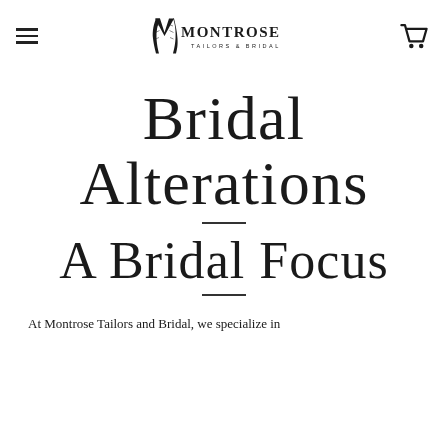[Figure (logo): Montrose Tailors & Bridal logo with stylized M and cart/hamburger menu icons in page header]
Bridal Alterations
A Bridal Focus
At Montrose Tailors and Bridal, we specialize in